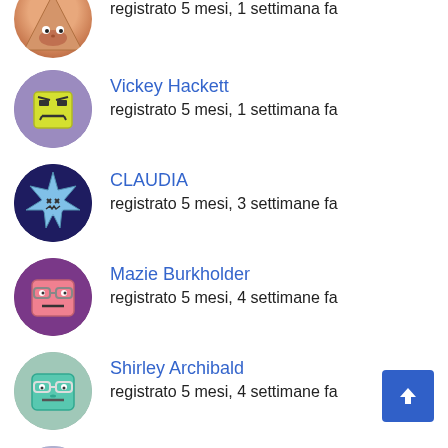registrato 5 mesi, 1 settimana fa
Vickey Hackett
registrato 5 mesi, 1 settimana fa
CLAUDIA
registrato 5 mesi, 3 settimane fa
Mazie Burkholder
registrato 5 mesi, 4 settimane fa
Shirley Archibald
registrato 5 mesi, 4 settimane fa
Giovanni
registrato 6 mesi fa
Paulette O'Ferrall